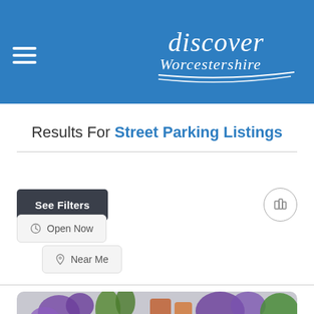[Figure (screenshot): Discover Worcestershire website header with blue background, hamburger menu icon on left, and handwritten-style 'discover Worcestershire' logo on right]
Results For Street Parking Listings
See Filters (button) | Map icon (circle button)
Open Now
Near Me
[Figure (photo): Partial photo showing purple flowers and colorful items at bottom of page]